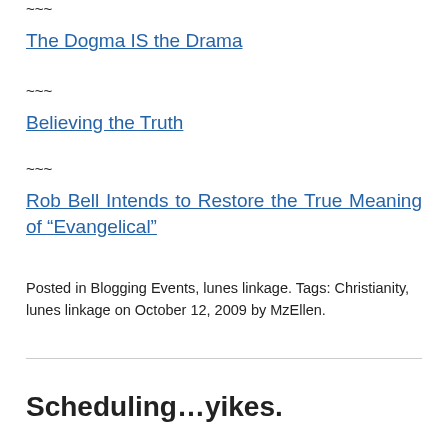~~~
The Dogma IS the Drama
~~~
Believing the Truth
~~~
Rob Bell Intends to Restore the True Meaning of "Evangelical"
Posted in Blogging Events, lunes linkage. Tags: Christianity, lunes linkage on October 12, 2009 by MzEllen.
Scheduling…yikes.